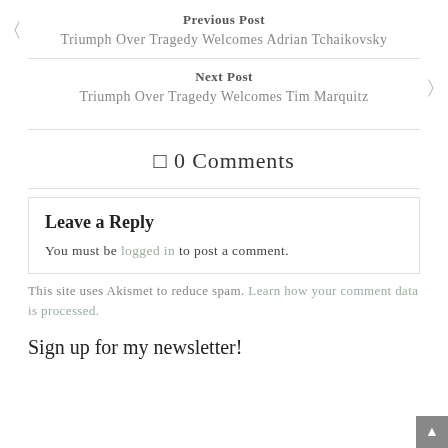Previous Post
Triumph Over Tragedy Welcomes Adrian Tchaikovsky
Next Post
Triumph Over Tragedy Welcomes Tim Marquitz
0 Comments
Leave a Reply
You must be logged in to post a comment.
This site uses Akismet to reduce spam. Learn how your comment data is processed.
Sign up for my newsletter!